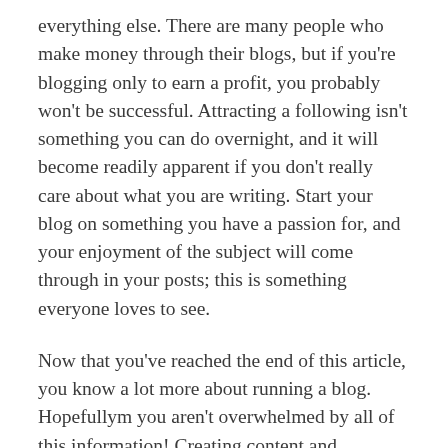everything else. There are many people who make money through their blogs, but if you're blogging only to earn a profit, you probably won't be successful. Attracting a following isn't something you can do overnight, and it will become readily apparent if you don't really care about what you are writing. Start your blog on something you have a passion for, and your enjoyment of the subject will come through in your posts; this is something everyone loves to see.
Now that you've reached the end of this article, you know a lot more about running a blog. Hopefullym you aren't overwhelmed by all of this information! Creating content and maintaining blogs is difficult, but it is worth it. Bookmark this article or keep it near your computer. You can refer back to it as needed.
Always include lots of links inside of your posts. Link to your own articles and other blogs. You can also...